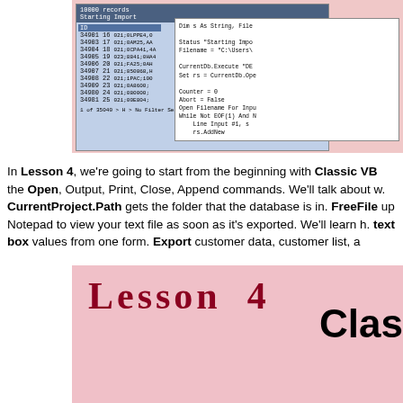[Figure (screenshot): Screenshot of a database import screen with code overlay showing VBA import code. Top section shows a table with records being imported (10000 records, Starting Import) and a code window with Dim s As String, Status, Filename, CurrentDb.Execute, Counter, Abort, Open Filename For Input, While Not EOF lines.]
In Lesson 4, we're going to start from the beginning with Classic VB the Open, Output, Print, Close, Append commands. We'll talk about w. CurrentProject.Path gets the folder that the database is in. FreeFile up Notepad to view your text file as soon as it's exported. We'll learn h. text box values from one form. Export customer data, customer list, a
[Figure (screenshot): Screenshot showing Lesson 4 heading in dark red, with a form showing customer data (CustomerID: 1, FirstName: Richard, LastName: Rost, Address: 6900 Daniels Pkwy Suite 29-122, City: Fort Myers, State: FL, ZIP: 33912, Country:, Phone: 7167917518, FamilySize: 2, CustomerSince: 2/1/1994, Notes:, Email: amicron@gmail.com), a list box showing Customer ID:1 First Name: Richard, Customer ID:2 First Name: James, Customer ID:4 First Name: Jean Luc, and bullet points partially visible on the right, and the word 'Clas' partially visible.]